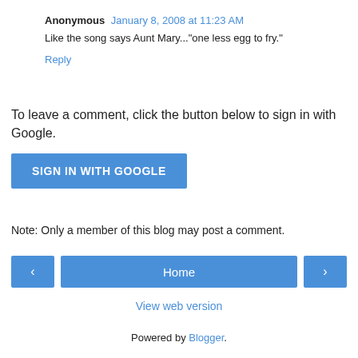Anonymous  January 8, 2008 at 11:23 AM
Like the song says Aunt Mary..."one less egg to fry."
Reply
To leave a comment, click the button below to sign in with Google.
SIGN IN WITH GOOGLE
Note: Only a member of this blog may post a comment.
‹  Home  ›
View web version
Powered by Blogger.